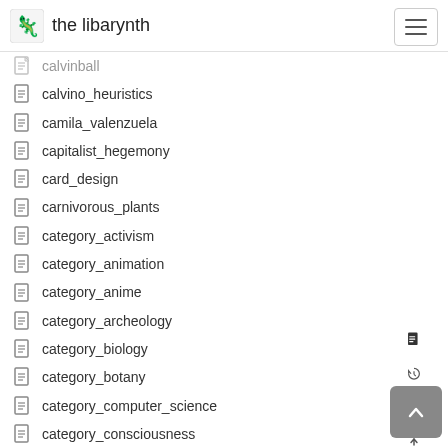the libarynth
calvinball
calvino_heuristics
camila_valenzuela
capitalist_hegemony
card_design
carnivorous_plants
category_activism
category_animation
category_anime
category_archeology
category_biology
category_botany
category_computer_science
category_consciousness
category_corporatism
category_ecology
category_economics
category_energy
category_food